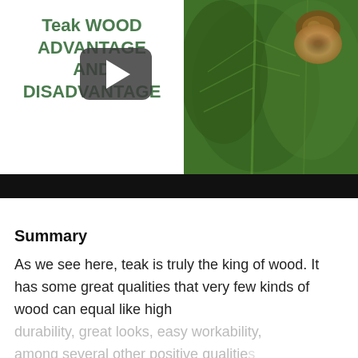[Figure (screenshot): Video thumbnail showing teak plant leaves on the right side with a YouTube-style play button overlay. Left side shows bold green text reading 'Teak WOOD ADVANTAGE AND DISADVANTAGE'. A black bar appears at the bottom of the video frame.]
Summary
As we see here, teak is truly the king of wood. It has some great qualities that very few kinds of wood can equal like high durability, great looks, easy workability, among several other positive qualities